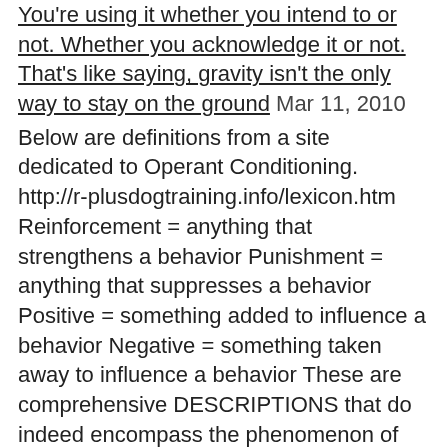You're using it whether you intend to or not. Whether you acknowledge it or not. That's like saying, gravity isn't the only way to stay on the ground Mar 11, 2010
Below are definitions from a site dedicated to Operant Conditioning. http://r-plusdogtraining.info/lexicon.htm Reinforcement = anything that strengthens a behavior Punishment = anything that suppresses a behavior Positive = something added to influence a behavior Negative = something taken away to influence a behavior These are comprehensive DESCRIPTIONS that do indeed encompass the phenomenon of learning so […]
Crate Duty Mar 09, 2010
"Hey kid, want to go to the Dentist? Here's 50 bucks, get on the chair so I can lock you in." Sooner or later, virtually every puppy, no matter how juicy the tidbit thrown into the back of its crate, is going to balk at going in once it's now mature enough to form an […]